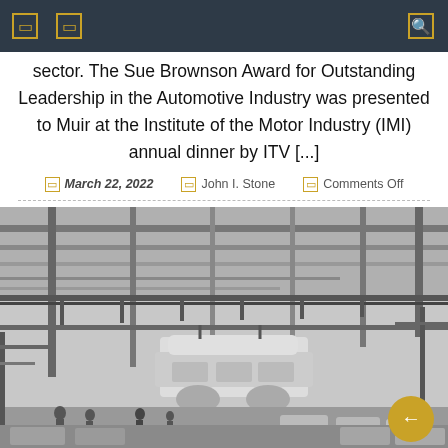[navigation header with icons]
sector. The Sue Brownson Award for Outstanding Leadership in the Automotive Industry was presented to Muir at the Institute of the Motor Industry (IMI) annual dinner by ITV [...]
March 22, 2022 | John I. Stone | Comments Off
[Figure (photo): Black and white photograph of an automotive factory assembly line showing car bodies suspended on overhead conveyor systems with workers visible on the factory floor below.]